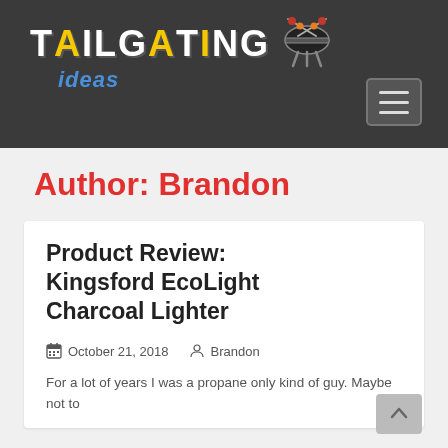[Figure (logo): Tailgating Ideas website logo with grill and utensils icon on dark header background]
Author: Brandon
Product Review: Kingsford EcoLight Charcoal Lighter
October 21, 2018   Brandon
For a lot of years I was a propane only kind of guy. Maybe not to